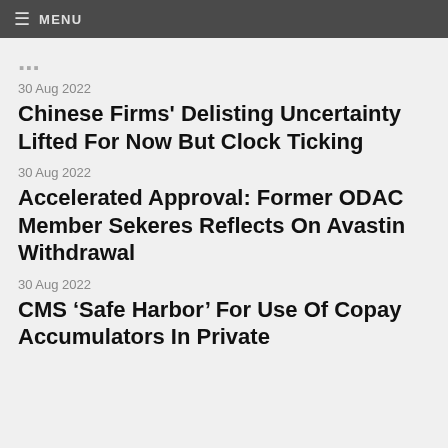≡ MENU
...
30 Aug 2022
Chinese Firms' Delisting Uncertainty Lifted For Now But Clock Ticking
30 Aug 2022
Accelerated Approval: Former ODAC Member Sekeres Reflects On Avastin Withdrawal
30 Aug 2022
CMS 'Safe Harbor' For Use Of Copay Accumulators In Private